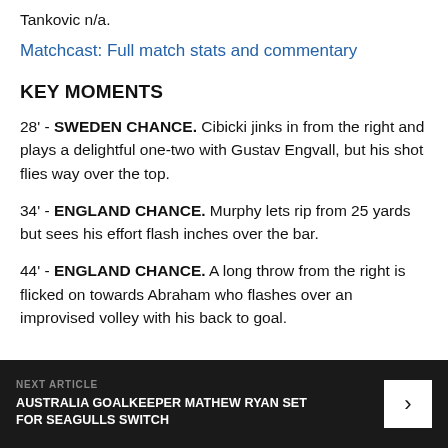Tankovic n/a.
Matchcast: Full match stats and commentary
KEY MOMENTS
28' - SWEDEN CHANCE. Cibicki jinks in from the right and plays a delightful one-two with Gustav Engvall, but his shot flies way over the top.
34' - ENGLAND CHANCE. Murphy lets rip from 25 yards but sees his effort flash inches over the bar.
44' - ENGLAND CHANCE. A long throw from the right is flicked on towards Abraham who flashes over an improvised volley with his back to goal.
NEXT ARTICLE
AUSTRALIA GOALKEEPER MATHEW RYAN SET FOR SEAGULLS SWITCH